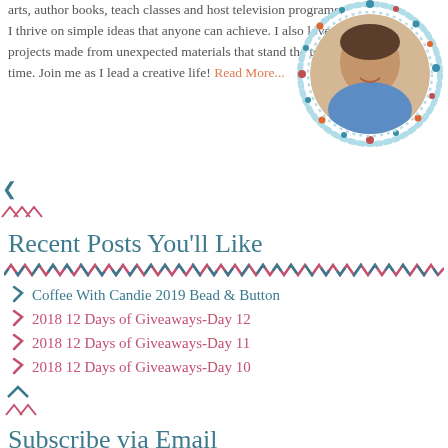arts, author books, teach classes and host television programs. I thrive on simple ideas that anyone can achieve. I also love projects made from unexpected materials that stand the test of time. Join me as I lead a creative life! Read More...
[Figure (photo): Circular profile photo of a smiling woman with short brown hair wearing a denim jacket, with a decorative teal and orange dotted circular border.]
Recent Posts You'll Like
Coffee With Candie 2019 Bead & Button
2018 12 Days of Giveaways-Day 12
2018 12 Days of Giveaways-Day 11
2018 12 Days of Giveaways-Day 10
Subscribe via Email
Your First Name